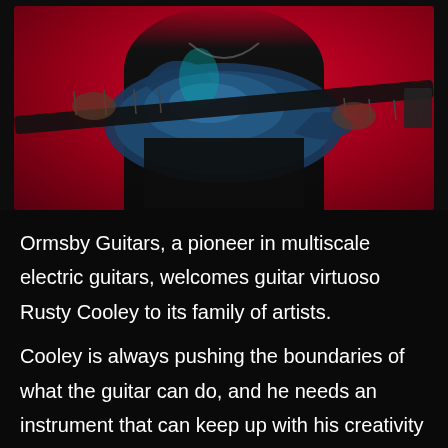[Figure (photo): A guitar player (Rusty Cooley) holding a blue multiscale electric guitar against a red background. The person is wearing a black t-shirt and has visible tattoos.]
Ormsby Guitars, a pioneer in multiscale electric guitars, welcomes guitar virtuoso Rusty Cooley to its family of artists.
Cooley is always pushing the boundaries of what the guitar can do, and he needs an instrument that can keep up with his creativity and technique. “A